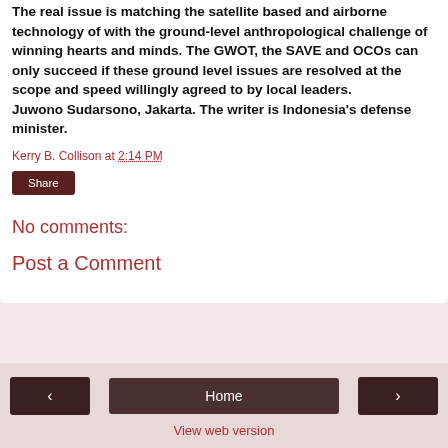The real issue is matching the satellite based and airborne technology of with the ground-level anthropological challenge of winning hearts and minds. The GWOT, the SAVE and OCOs can only succeed if these ground level issues are resolved at the scope and speed willingly agreed to by local leaders. Juwono Sudarsono, Jakarta. The writer is Indonesia's defense minister.
Kerry B. Collison at 2:14 PM
Share
No comments:
Post a Comment
‹  Home  ›  View web version